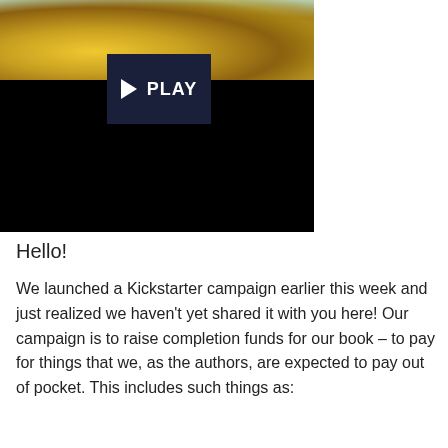[Figure (photo): A photo of baked bread/pastry items (seeded rolls or loaves) on a white cloth, partially visible at top, with a dark black video player overlay and a PLAY button in the center.]
Hello!
We launched a Kickstarter campaign earlier this week and just realized we haven’t yet shared it with you here! Our campaign is to raise completion funds for our book – to pay for things that we, as the authors, are expected to pay out of pocket. This includes such things as: